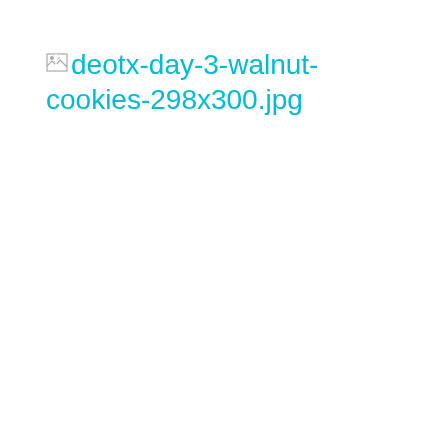[Figure (other): Broken image placeholder showing a small broken image icon followed by the filename text 'deotx-day-3-walnut-cookies-298x300.jpg' in cyan/teal color, indicating a missing image file.]